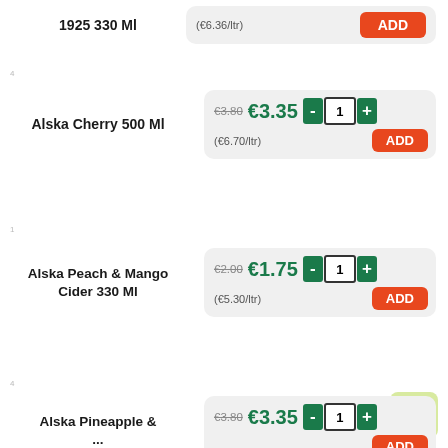1925 330 Ml — (€6.36/ltr) ADD
Alska Cherry 500 Ml — €3.80 €3.35 - 1 + (€6.70/ltr) ADD
Alska Peach & Mango Cider 330 Ml — €2.00 €1.75 - 1 + (€5.30/ltr) ADD
Alska Pineapple & ... — €3.80 €3.35 - 1 + ADD